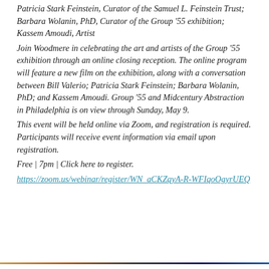Patricia Stark Feinstein, Curator of the Samuel L. Feinstein Trust; Barbara Wolanin, PhD, Curator of the Group '55 exhibition; Kassem Amoudi, Artist
Join Woodmere in celebrating the art and artists of the Group '55 exhibition through an online closing reception. The online program will feature a new film on the exhibition, along with a conversation between Bill Valerio; Patricia Stark Feinstein; Barbara Wolanin, PhD; and Kassem Amoudi. Group '55 and Midcentury Abstraction in Philadelphia is on view through Sunday, May 9.
This event will be held online via Zoom, and registration is required. Participants will receive event information via email upon registration.
Free | 7pm | Click here to register.
https://zoom.us/webinar/register/WN_aCKZqyA-R-WFIqoOgyrUEQ